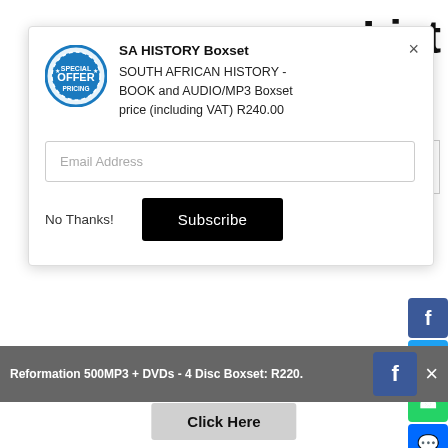List
[Figure (screenshot): Popup modal with OFFER badge, product title 'SA HISTORY Boxset', description 'SOUTH AFRICAN HISTORY - BOOK and AUDIO/MP3 Boxset price (including VAT) R240.00', email address input field, 'No Thanks!' link and 'Subscribe' button]
No Thanks!
Subscribe
Reformation 500MP3 + DVDs - 4 Disc Boxset: R220.
Click Here